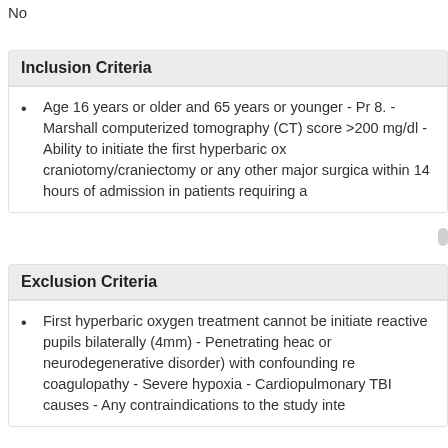No
Inclusion Criteria
Age 16 years or older and 65 years or younger - Pr 8. - Marshall computerized tomography (CT) score >200 mg/dl - Ability to initiate the first hyperbaric ox craniotomy/craniectomy or any other major surgica within 14 hours of admission in patients requiring a
Exclusion Criteria
First hyperbaric oxygen treatment cannot be initiate reactive pupils bilaterally (4mm) - Penetrating heac or neurodegenerative disorder) with confounding re coagulopathy - Severe hypoxia - Cardiopulmonary TBI causes - Any contraindications to the study inte